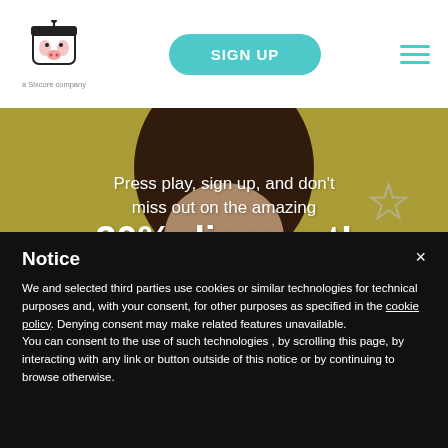[Figure (logo): Cow-themed cartoon logo with 'a Sixcore company' text below]
SIGN UP
[Figure (photo): Smiling woman with curly brown hair wearing white, against a yellow background with drawn stars. Overlay text: Press play, sign up, and don't miss out on the amazing 20% discount!]
Notice
We and selected third parties use cookies or similar technologies for technical purposes and, with your consent, for other purposes as specified in the cookie policy. Denying consent may make related features unavailable.
You can consent to the use of such technologies , by scrolling this page, by interacting with any link or button outside of this notice or by continuing to browse otherwise.